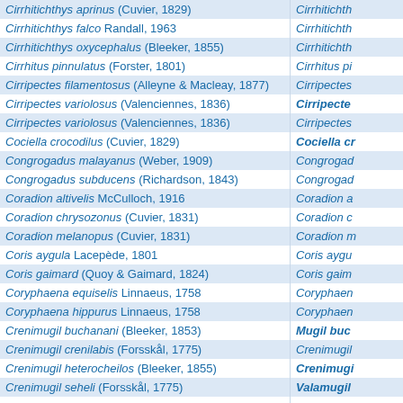| Column 1 | Column 2 |
| --- | --- |
| Cirrhitichthys aprinus (Cuvier, 1829) | Cirrhitichth... |
| Cirrhitichthys falco Randall, 1963 | Cirrhitichth... |
| Cirrhitichthys oxycephalus (Bleeker, 1855) | Cirrhitichth... |
| Cirrhitus pinnulatus (Forster, 1801) | Cirrhitus pi... |
| Cirripectes filamentosus (Alleyne & Macleay, 1877) | Cirripectes... |
| Cirripectes variolosus (Valenciennes, 1836) | Cirripectes (bold) |
| Cirripectes variolosus (Valenciennes, 1836) | Cirripectes... |
| Cociella crocodilus (Cuvier, 1829) | Cociella cr... (bold) |
| Congrogadus malayanus (Weber, 1909) | Congrogad... |
| Congrogadus subducens (Richardson, 1843) | Congrogad... |
| Coradion altivelis McCulloch, 1916 | Coradion a... |
| Coradion chrysozonus (Cuvier, 1831) | Coradion c... |
| Coradion melanopus (Cuvier, 1831) | Coradion m... |
| Coris aygula Lacepède, 1801 | Coris aygu... |
| Coris gaimard (Quoy & Gaimard, 1824) | Coris gaim... |
| Coryphaena equiselis Linnaeus, 1758 | Coryphaen... |
| Coryphaena hippurus Linnaeus, 1758 | Coryphaen... |
| Crenimugil buchanani (Bleeker, 1853) | Mugil buc... (bold) |
| Crenimugil crenilabis (Forsskål, 1775) | Crenimugil... |
| Crenimugil heterocheilos (Bleeker, 1855) | Crenimugi... (bold) |
| Crenimugil seheli (Forsskål, 1775) | Valamugil... (bold) |
| ... (Macleay, 1880) | ... |